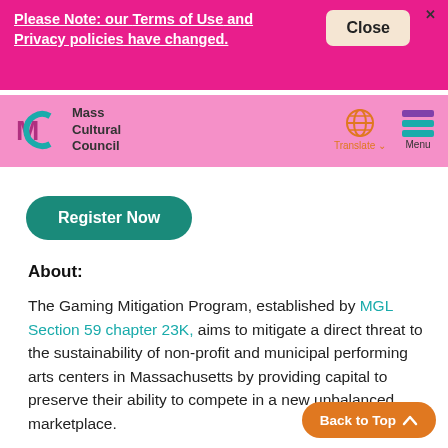Please Note: our Terms of Use and Privacy policies have changed.
[Figure (screenshot): Mass Cultural Council website screenshot showing navigation bar with logo, Translate and Menu buttons, Register Now button, and About section text for Gaming Mitigation Program]
About: The Gaming Mitigation Program, established by MGL Section 59 chapter 23K, aims to mitigate a direct threat to the sustainability of non-profit and municipal performing arts centers in Massachusetts by providing capital to preserve their ability to compete in a new unbalanced marketplace.